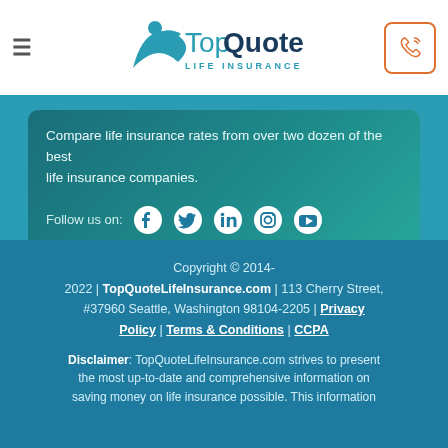TopQuote Life Insurance navigation bar with hamburger menu, logo, and phone button
Compare life insurance rates from over two dozen of the best life insurance companies.
Follow us on: [Facebook] [Twitter] [LinkedIn] [Instagram] [YouTube]
Company
About Us
Contact Us
Copyright © 2014-2022 | TopQuoteLifeInsurance.com | 113 Cherry Street, #37960 Seattle, Washington 98104-2205 | Privacy Policy | Terms & Conditions | CCPA
Disclaimer: TopQuoteLifeInsurance.com strives to present the most up-to-date and comprehensive information on saving money on life insurance possible. This information